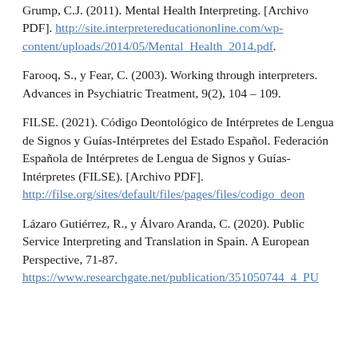Grump, C.J. (2011). Mental Health Interpreting. [Archivo PDF]. http://site.interpretereducationonline.com/wp-content/uploads/2014/05/Mental_Health_2014.pdf.
Farooq, S., y Fear, C. (2003). Working through interpreters. Advances in Psychiatric Treatment, 9(2), 104 – 109.
FILSE. (2021). Código Deontológico de Intérpretes de Lengua de Signos y Guías-Intérpretes del Estado Español. Federación Española de Intérpretes de Lengua de Signos y Guías-Intérpretes (FILSE). [Archivo PDF]. http://filse.org/sites/default/files/pages/files/codigo_deon
Lázaro Gutiérrez, R., y Álvaro Aranda, C. (2020). Public Service Interpreting and Translation in Spain. A European Perspective, 71-87. https://www.researchgate.net/publication/351050744_4_PU